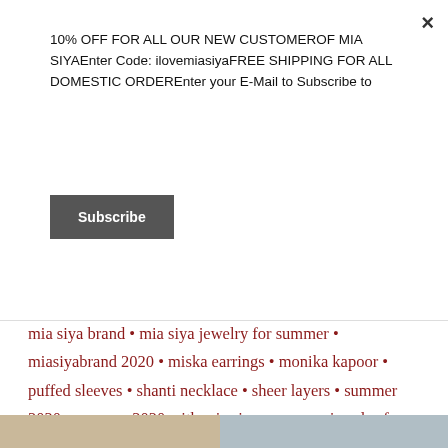10% OFF FOR ALL OUR NEW CUSTOMEROF MIA SIYAEnter Code: ilovemiasiyaFREE SHIPPING FOR ALL DOMESTIC ORDEREnter your E-Mail to Subscribe to
Subscribe
mia siya brand • mia siya jewelry for summer • miasiyabrand 2020 • miska earrings • monika kapoor • puffed sleeves • shanti necklace • sheer layers • summer 2020 • summer 2020 with mia siya • summer jewelry from mia siya • summer trends 2020 • trends in fashion • trends in jewelry • world of mia siya • wrapped ankles • yoga jewelry • zora necklace
[Figure (photo): Bottom portion of a lifestyle/jewelry photo showing two images side by side]